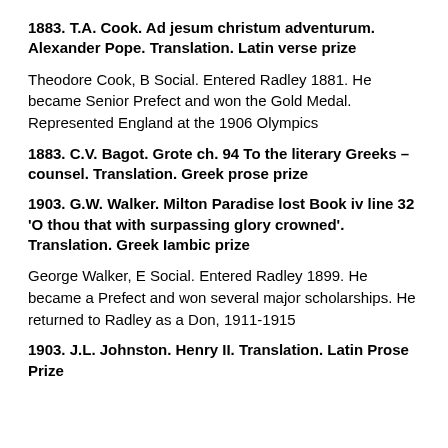1883. T.A. Cook. Ad jesum christum adventurum. Alexander Pope. Translation. Latin verse prize
Theodore Cook, B Social. Entered Radley 1881. He became Senior Prefect and won the Gold Medal. Represented England at the 1906 Olympics
1883. C.V. Bagot. Grote ch. 94 To the literary Greeks – counsel. Translation. Greek prose prize
1903. G.W. Walker. Milton Paradise lost Book iv line 32 'O thou that with surpassing glory crowned'. Translation. Greek Iambic prize
George Walker, E Social. Entered Radley 1899. He became a Prefect and won several major scholarships. He returned to Radley as a Don, 1911-1915
1903. J.L. Johnston. Henry II. Translation. Latin Prose Prize